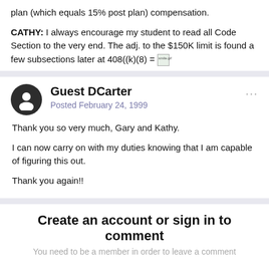plan (which equals 15% post plan) compensation.

CATHY: I always encourage my student to read all Code Section to the very end. The adj. to the $150K limit is found a few subsections later at 408((k)(8) = [smile.gif]
Guest DCarter
Posted February 24, 1999
Thank you so very much, Gary and Kathy.

I can now carry on with my duties knowing that I am capable of figuring this out.

Thank you again!!
Create an account or sign in to comment
You need to be a member in order to leave a comment